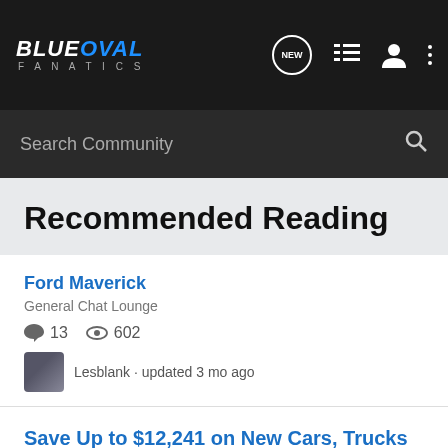BLUEOVAL FANATICS
Search Community
Recommended Reading
Ford Maverick
General Chat Lounge
13 comments · 602 views
Lesblank · updated 3 mo ago
Save Up to $12,241 on New Cars, Trucks and SUVs in February | Edmunds
General Chat Lounge